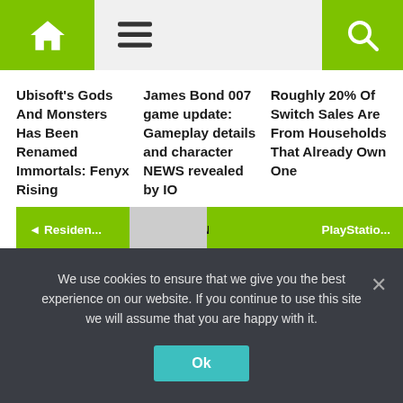Navigation bar with home, menu, and search icons
Ubisoft's Gods And Monsters Has Been Renamed Immortals: Fenyx Rising
James Bond 007 game update: Gameplay details and character NEWS revealed by IO
Roughly 20% Of Switch Sales Are From Households That Already Own One
◄ Residen...
BEST NEWS
PlayStatio...
We use cookies to ensure that we give you the best experience on our website. If you continue to use this site we will assume that you are happy with it.
Ok